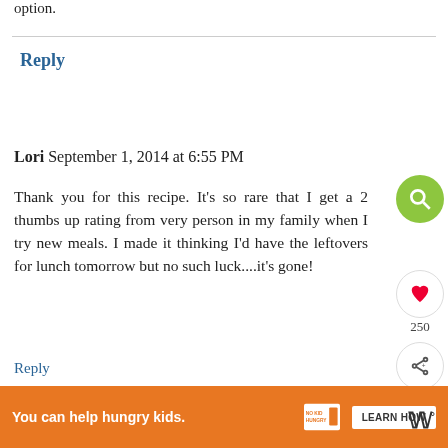option.
Reply
Lori September 1, 2014 at 6:55 PM
Thank you for this recipe. It's so rare that I get a 2 thumbs up rating from very person in my family when I try new meals. I made it thinking I'd have the leftovers for lunch tomorrow but no such luck....it's gone!
Reply
Replies
[Figure (screenshot): Website UI overlay with search icon (green circle), heart/like button, share button, and 250 count. 'What's Next' widget showing Sheet Pan Eggplant...]
[Figure (infographic): Orange advertisement bar: 'You can help hungry kids.' No Kid Hungry logo, LEARN HOW button, close X button]